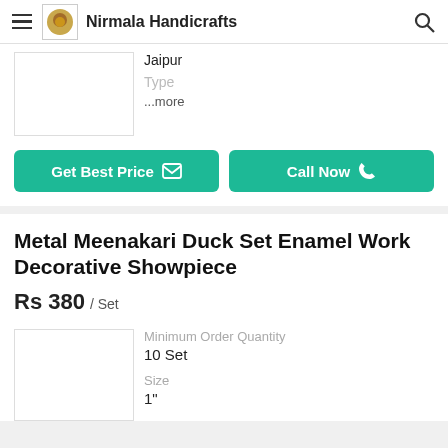Nirmala Handicrafts
Jaipur
Type
...more
Get Best Price
Call Now
Metal Meenakari Duck Set Enamel Work Decorative Showpiece
Rs 380 / Set
Minimum Order Quantity
10 Set
Size
1"